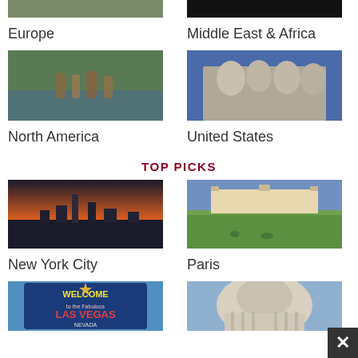[Figure (photo): Partial photo of Europe region (cut off at top)]
Europe
[Figure (photo): Partial photo of Middle East & Africa region (cut off at top)]
Middle East & Africa
[Figure (photo): Elk/deer wading in water with mountains - North America]
North America
[Figure (photo): Mount Rushmore - United States]
United States
TOP PICKS
[Figure (photo): New York City skyline at sunset/dusk]
New York City
[Figure (photo): Paris - Luxembourg Palace/Gardens]
Paris
[Figure (photo): Welcome to Las Vegas Nevada sign (partially visible)]
[Figure (photo): Capitol building dome (partially visible)]